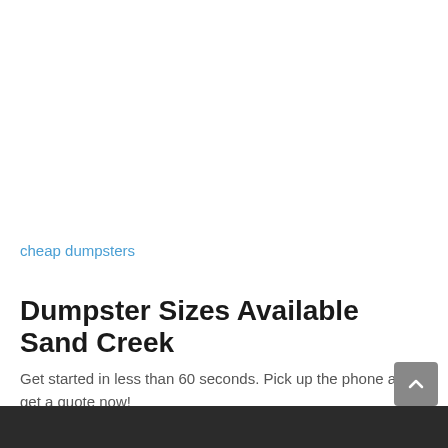cheap dumpsters
Dumpster Sizes Available Sand Creek
Get started in less than 60 seconds. Pick up the phone and get a quote now!